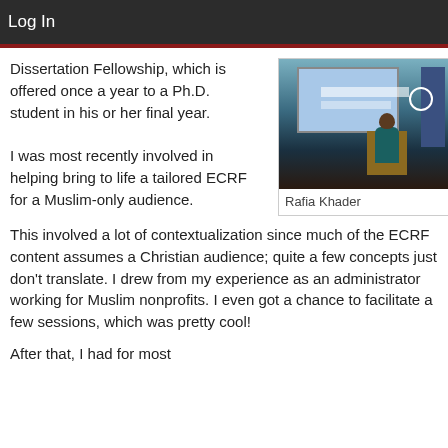Log In
Dissertation Fellowship, which is offered once a year to a Ph.D. student in his or her final year.
[Figure (photo): A woman in a teal hijab speaking at a podium in a lecture hall, with a presentation screen visible in the background and a flag on the right side.]
Rafia Khader
I was most recently involved in helping bring to life a tailored ECRF for a Muslim-only audience. This involved a lot of contextualization since much of the ECRF content assumes a Christian audience; quite a few concepts just don't translate. I drew from my experience as an administrator working for Muslim nonprofits. I even got a chance to facilitate a few sessions, which was pretty cool!
After that, I had for most